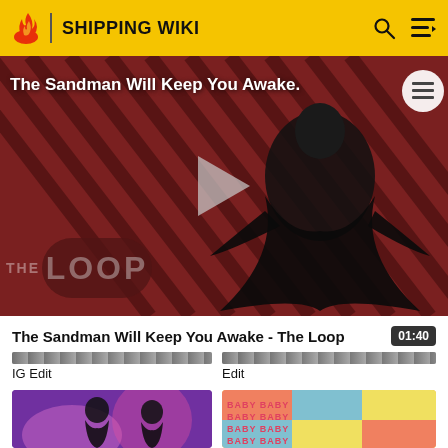SHIPPING WIKI
[Figure (screenshot): Video thumbnail for 'The Sandman Will Keep You Awake – The Loop' showing a figure in black cape against a red striped background with THE LOOP text overlay and a play button]
The Sandman Will Keep You Awake - The Loop
01:40
IG Edit
Edit
[Figure (screenshot): Video thumbnail showing anime-style characters in purple background]
[Figure (screenshot): Video thumbnail with BABY BABY BABY text repeated on colorful background]